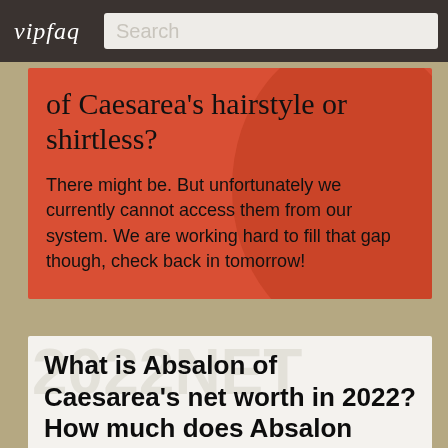vipfaq  Search
of Caesarea's hairstyle or shirtless?
There might be. But unfortunately we currently cannot access them from our system. We are working hard to fill that gap though, check back in tomorrow!
What is Absalon of Caesarea's net worth in 2022? How much does Absalon